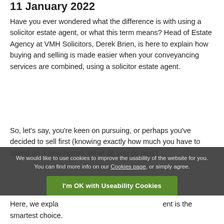11 January 2022
Have you ever wondered what the difference is with using a solicitor estate agent, or what this term means? Head of Estate Agency at VMH Solicitors, Derek Brien, is here to explain how buying and selling is made easier when your conveyancing services are combined, using a solicitor estate agent.
So, let's say, you're keen on pursuing, or perhaps you've decided to sell first (knowing exactly how much you have to spend on a new home). What do you do next?
We would like to use cookies to improve the usability of the website for you. You can find more info on our Cookies page, or simply agree.
Here, we explain why using a solicitor estate agent is the smartest choice.